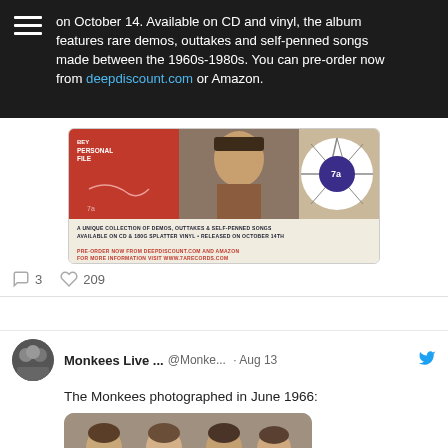on October 14. Available on CD and vinyl, the album features rare demos, outtakes and self-penned songs made between the 1960s-1980s. You can pre-order now from deepdiscount.com or Amazon.
[Figure (photo): Album artwork for a collection of demos, outtakes and self-penned songs, available on CD and 180g splatter vinyl, released on October 14th. Pre-order from deepdiscount.com and Amazon.]
3 comments, 209 likes
Monkees Live ... @Monke... · Aug 13
The Monkees photographed in June 1966:
[Figure (photo): The Monkees photographed in June 1966, partial view of group members.]